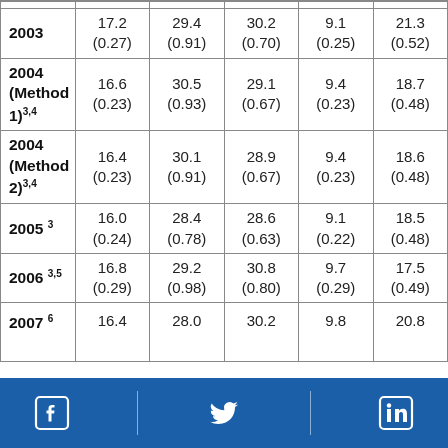| Year | Col1 | Col2 | Col3 | Col4 | Col5 |
| --- | --- | --- | --- | --- | --- |
| 2003 | 17.2
(0.27) | 29.4
(0.91) | 30.2
(0.70) | 9.1
(0.25) | 21.3
(0.52) |
| 2004 (Method 1)3,4 | 16.6
(0.23) | 30.5
(0.93) | 29.1
(0.67) | 9.4
(0.23) | 18.7
(0.48) |
| 2004 (Method 2)3,4 | 16.4
(0.23) | 30.1
(0.91) | 28.9
(0.67) | 9.4
(0.23) | 18.6
(0.48) |
| 2005 3 | 16.0
(0.24) | 28.4
(0.78) | 28.6
(0.63) | 9.1
(0.22) | 18.5
(0.48) |
| 2006 3,5 | 16.8
(0.29) | 29.2
(0.98) | 30.8
(0.80) | 9.7
(0.29) | 17.5
(0.49) |
| 2007 6 | 16.4 | 28.0 | 30.2 | 9.8 | 20.8 |
Social media icons: Facebook, Twitter, LinkedIn